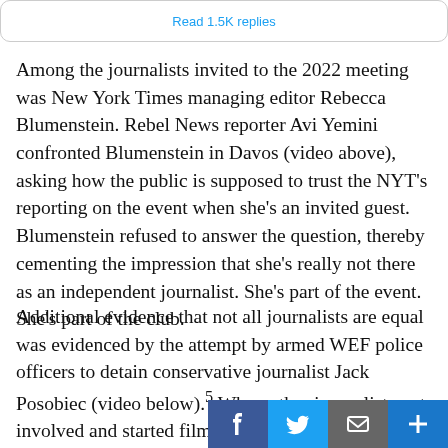[Figure (screenshot): Partial tweet embed showing 'Read 1.5K replies' link in blue text, inside a rounded rectangle card.]
Among the journalists invited to the 2022 meeting was New York Times managing editor Rebecca Blumenstein. Rebel News reporter Avi Yemini confronted Blumenstein in Davos (video above), asking how the public is supposed to trust the NYT's reporting on the event when she's an invited guest. Blumenstein refused to answer the question, thereby cementing the impression that she's really not there as an independent journalist. She's part of the event. She's part of the club.
Additional evidence that not all journalists are equal was evidenced by the attempt by armed WEF police officers to detain conservative journalist Jack Posobiec (video below).⁵ When other journalists got involved and started filming and asking questions, the police took off. The fact that the WEF has ITS o force should be a wakeup call. Clearly, they're far more